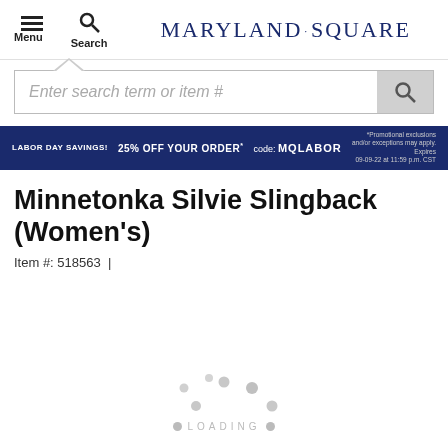Menu Search MARYLAND·SQUARE
Enter search term or item #
LABOR DAY SAVINGS! 25% OFF YOUR ORDER* code: MQLABOR *Promotional exclusions and/or exceptions may apply. Expires 09-09-22 at 11:59 p.m. CST
Minnetonka Silvie Slingback (Women's)
Item #: 518563 |
[Figure (other): Loading spinner animation with grey dots arranged in a circular pattern and LOADING text below]